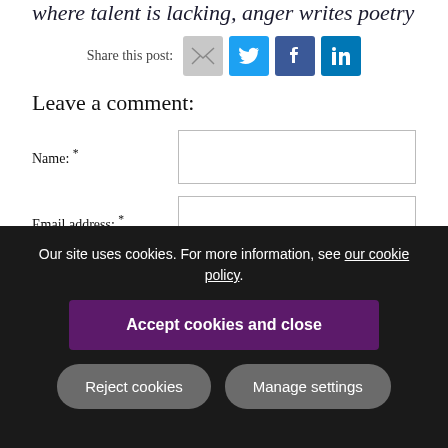where talent is lacking, anger writes poetry
Share this post:
Leave a comment:
Name: *
Email address: *
Our site uses cookies. For more information, see our cookie policy.
Accept cookies and close
Reject cookies
Manage settings